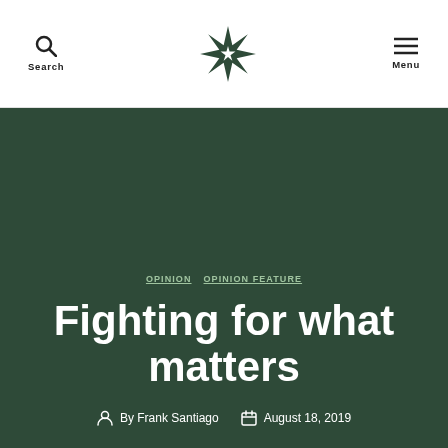Search | [Logo] | Menu
OPINION   OPINION FEATURE
Fighting for what matters
By Frank Santiago   August 18, 2019